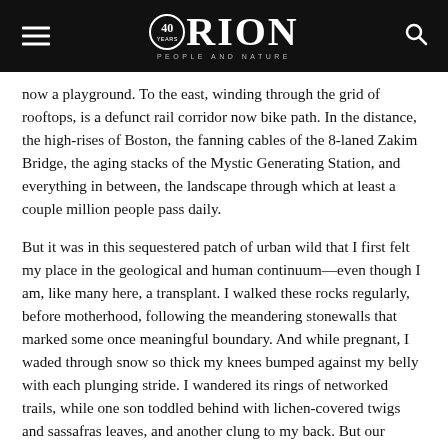ORION — PEOPLE AND NATURE (40 years)
now a playground. To the east, winding through the grid of rooftops, is a defunct rail corridor now bike path. In the distance, the high-rises of Boston, the fanning cables of the 8-laned Zakim Bridge, the aging stacks of the Mystic Generating Station, and everything in between, the landscape through which at least a couple million people pass daily.
But it was in this sequestered patch of urban wild that I first felt my place in the geological and human continuum—even though I am, like many here, a transplant. I walked these rocks regularly, before motherhood, following the meandering stonewalls that marked some once meaningful boundary. And while pregnant, I waded through snow so thick my knees bumped against my belly with each plunging stride. I wandered its rings of networked trails, while one son toddled behind with lichen-covered twigs and sassafras leaves, and another clung to my back. But our favorite spot is a lean-to built on Gilboa Rock from fallen branches–maybe oak, maybe hickory. We rarely